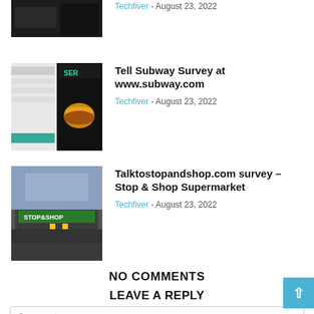[Figure (photo): Partial view of a dark storefront photo thumbnail at top]
Techfiver - August 23, 2022
[Figure (photo): Thumbnail showing a Subway survey webpage alongside a burger photo on dark background]
Tell Subway Survey at www.subway.com
Techfiver - August 23, 2022
[Figure (photo): Photo of a Stop & Shop Supermarket exterior with parking lot]
Talktostopandshop.com survey – Stop & Shop Supermarket
Techfiver - August 23, 2022
NO COMMENTS
LEAVE A REPLY
Comment: